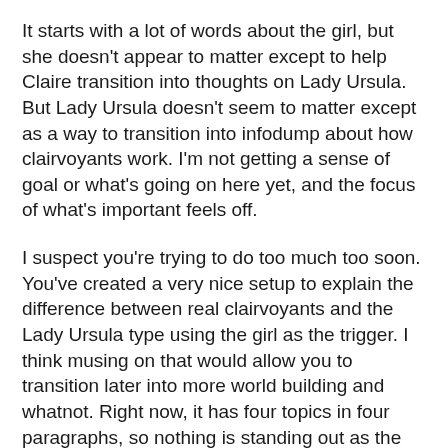It starts with a lot of words about the girl, but she doesn't appear to matter except to help Claire transition into thoughts on Lady Ursula. But Lady Ursula doesn't seem to matter except as a way to transition into infodump about how clairvoyants work. I'm not getting a sense of goal or what's going on here yet, and the focus of what's important feels off.
I suspect you're trying to do too much too soon. You've created a very nice setup to explain the difference between real clairvoyants and the Lady Ursula type using the girl as the trigger. I think musing on that would allow you to transition later into more world building and whatnot. Right now, it has four topics in four paragraphs, so nothing is standing out as the point of the scene.
(More on narrative focus)
I think if you added a goal and tweaked things a little so they reflected whatever it was Claire is trying to do, it would draw readers in better and clarify what this world is like. It could be something as simple as Claire doing her job while wishing she had a better posting. She just feels empty right now.